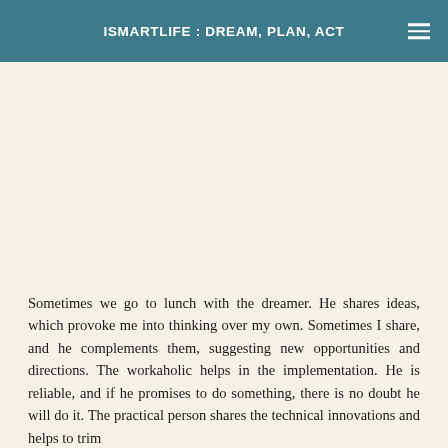ISMARTLIFE : DREAM, PLAN, ACT
Sometimes we go to lunch with the dreamer. He shares ideas, which provoke me into thinking over my own. Sometimes I share, and he complements them, suggesting new opportunities and directions. The workaholic helps in the implementation. He is reliable, and if he promises to do something, there is no doubt he will do it. The practical person shares the technical innovations and helps to trim